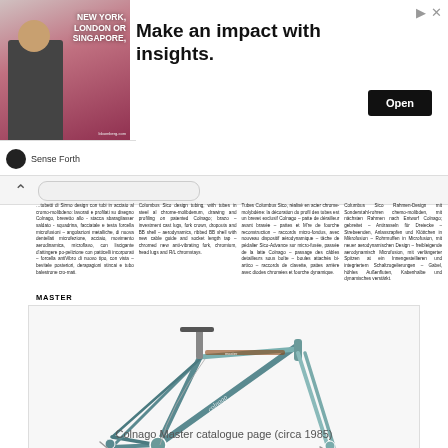[Figure (infographic): Advertisement banner: image of a businessman with text 'NEW YORK, LONDON OR SINGAPORE,' with tagline 'Make an impact with insights.' and an 'Open' button. Sense Forth branding.]
Columbus Sico design tubing, with tubes in steel al chrome-molybdenum, drawing and profiling on patent Colnago; brazo - investment cast lugs, fork crown, dropouts and BB shell - aerodynamics, ribbed BB shell with new cable guide and socket length tap - chromed new anti-vibrating fork, chromium, head lugs and R/L chromstays.
Tubes Columbus Sico, réalisé en acier chrome-molybdène: la décoration du profil des tubes est un brevet exclusif Colnago - patte de dérailleur avant brasée - pattes et M're de fourche reconstruction - raccords micro-fondus, avec nouveau dispositif aérodynamique - tâche de pédalier Sico-Advance sur micro-fusée, passée de la latte Colnago - passage des câbles detailleurs sous boîte - boules attachés bi-artico - raccords de clavette, pattes arrière avec diodes chromées et fourche dynamique.
Columbus Sico Rahmen-Design mit Sonderstahl-rohren chemo-molibden, mit nächsten Rahmen nach Entwurf Colnago; gebreitet - Antirasseln für Dreiecke - Strebeenden, Anlasszapfen und Klöttchen in Mikrofiusion - Rohrmuffen in Microfusion, mit neuer aerodynamischen Design - freibleigende aerodynamisch Microfusion, mit verlängerter Spitzen at ein Innengestellieren und integriertem Schaltzugelierungen - Gabel, höhles Außenfluten, Kabenhalbe und dynamisches verstärkt.
MASTER
[Figure (photo): Colnago Master bicycle frame in teal/silver color with fork, displayed on a surface. Circa 1985 catalogue photo.]
Colnago Master catalogue page (circa 1985)